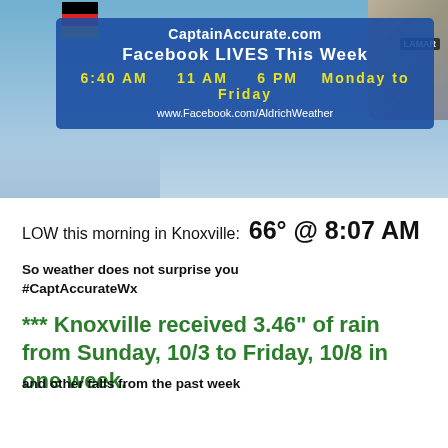[Figure (screenshot): Banner screenshot showing CaptainAccurate.com with Facebook LIVES schedule: 6:40 AM, 11 AM, 6 PM Monday to Friday, www.Facebook.com/AldrichWeather]
LOW this morning in Knoxville:  66° @ 8:07 AM
So weather does not surprise you
#CaptAccurateWx
*** Knoxville received 3.46" of rain from Sunday, 10/3 to Friday, 10/8 in one week.
and other falls from the past week